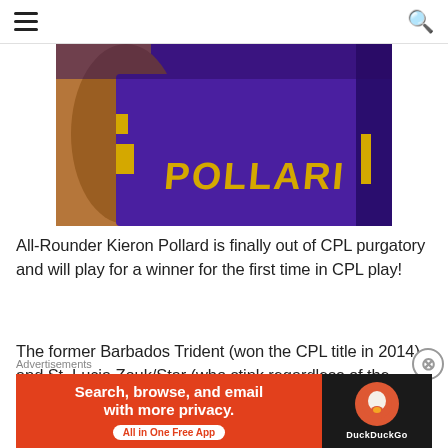navigation header with hamburger menu and search icon
[Figure (photo): Cricket player wearing purple and gold jersey with 'POLLARD' written on the back, close-up cropped shot showing jersey and arms]
All-Rounder Kieron Pollard is finally out of CPL purgatory and will play for a winner for the first time in CPL play!
The former Barbados Trident (won the CPL title in 2014) and St. Lucia Zouk/Star (who stink regardless of the name) has finally come home to play for the Knight Riders for the first time.
Advertisements
[Figure (screenshot): DuckDuckGo advertisement banner: orange background with text 'Search, browse, and email with more privacy.' and 'All in One Free App' pill button, DuckDuckGo duck logo on dark right panel]